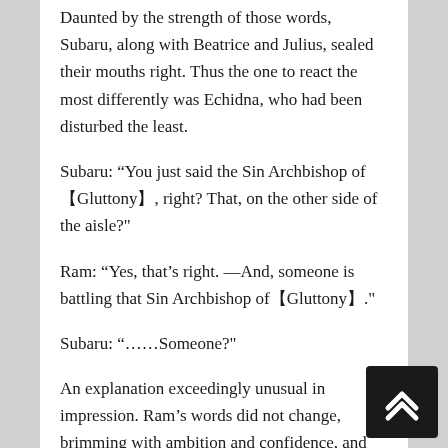Daunted by the strength of those words, Subaru, along with Beatrice and Julius, sealed their mouths right. Thus the one to react the most differently was Echidna, who had been disturbed the least.
Subaru: “You just said the Sin Archbishop of 【Gluttony】, right? That, on the other side of the aisle?"
Ram: “Yes, that’s right. ―And, someone is battling that Sin Archbishop of【Gluttony】."
Subaru: “……Someone?"
An explanation exceedingly unusual in impression. Ram’s words did not change, brimming with ambition and confidence, and the existence of unintelligible portions itself yielded a terribly far-reaching unease.